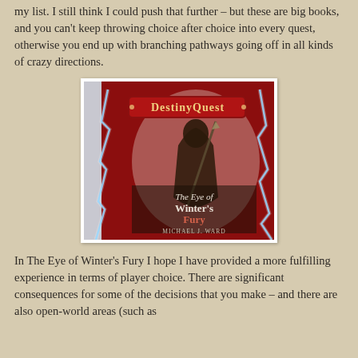my list. I still think I could push that further – but these are big books, and you can't keep throwing choice after choice into every quest, otherwise you end up with branching pathways going off in all kinds of crazy directions.
[Figure (photo): Book cover of 'The Eye of Winter's Fury' by Michael J. Ward, part of the DestinyQuest series. Shows a dark armored figure holding a weapon against a dramatic red and white background with lightning effects.]
In The Eye of Winter's Fury I hope I have provided a more fulfilling experience in terms of player choice. There are significant consequences for some of the decisions that you make – and there are also open-world areas (such as